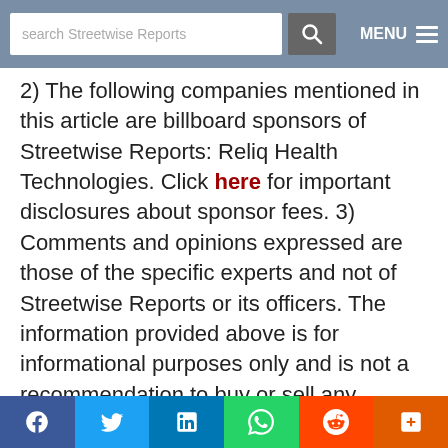search Streetwise Reports | MENU
2) The following companies mentioned in this article are billboard sponsors of Streetwise Reports: Reliq Health Technologies. Click here for important disclosures about sponsor fees. 3) Comments and opinions expressed are those of the specific experts and not of Streetwise Reports or its officers. The information provided above is for informational purposes only and is not a recommendation to buy or sell any security. 4) The article does not constitute investment advice. Each reader is encouraged to consult with his or her individual financial